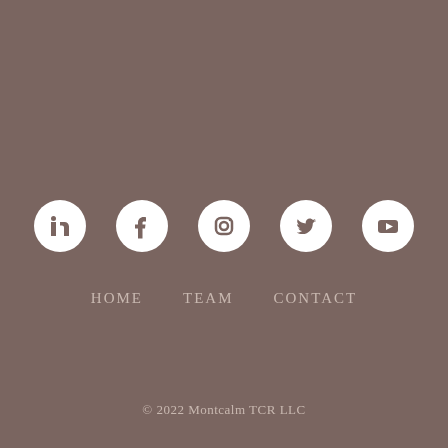[Figure (other): Row of five social media icons (LinkedIn, Facebook, Instagram, Twitter, YouTube) displayed as white icons on white circular backgrounds against a brownish-grey background]
HOME   TEAM   CONTACT
© 2022 Montcalm TCR LLC